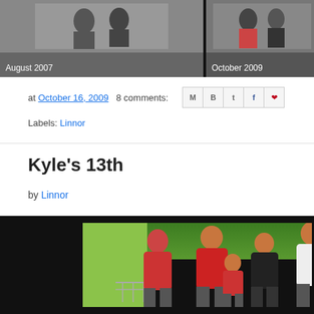[Figure (photo): Top photo strip showing two photos side by side on black background. Left photo captioned 'August 2007', right photo captioned 'October 2009'.]
August 2007
October 2009
at October 16, 2009   8 comments:
Labels: Linnor
Kyle's 13th
by Linnor
[Figure (photo): Family photo showing a group of people standing outdoors in front of a green wall with trees in the background. People are wearing red and white shirts.]